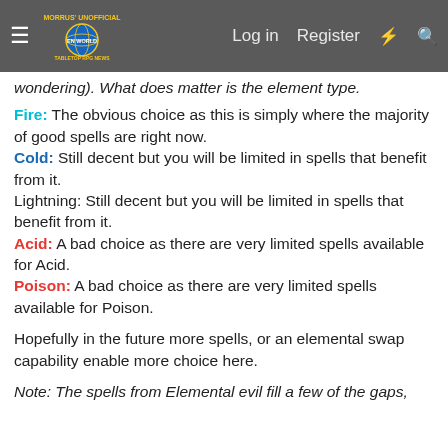Morrus' Unofficial Tabletop RPG News — Log in | Register
wondering). What does matter is the element type.
Fire: The obvious choice as this is simply where the majority of good spells are right now.
Cold: Still decent but you will be limited in spells that benefit from it.
Lightning: Still decent but you will be limited in spells that benefit from it.
Acid: A bad choice as there are very limited spells available for Acid.
Poison: A bad choice as there are very limited spells available for Poison.
Hopefully in the future more spells, or an elemental swap capability enable more choice here.
Note: The spells from Elemental evil fill a few of the gaps,